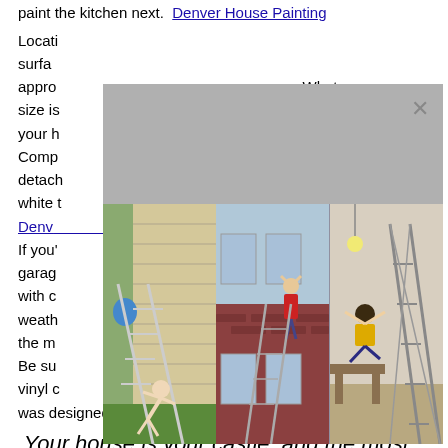paint the kitchen next.  Denver House Painting
Location surface approx What size is es is your h sired Compl with detach have white t d. Denver If you or garage start with cl weathe But the ma peel. Be su ting vinyl c h it was designed to withstand. Home Painters Denver CO
[Figure (photo): Modal popup with three side-by-side photos showing people falling off ladders near houses and scaffolding, with a gray header area and an X close button]
Your house is your castle, and the most important thing is to